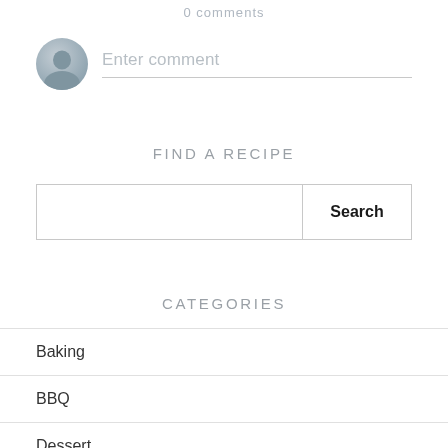0 comments
[Figure (illustration): User avatar circle icon (grey silhouette) next to an Enter comment placeholder text field with a light grey bottom border]
Enter comment
FIND A RECIPE
[Figure (screenshot): Search input box with a Search button on the right]
CATEGORIES
Baking
BBQ
Dessert